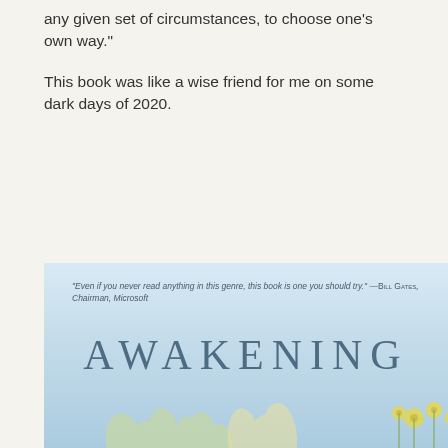any given set of circumstances, to choose one's own way."
This book was like a wise friend for me on some dark days of 2020.
[Figure (illustration): Book cover of 'Awakening' with a light blue gradient background, a pull quote from Bill Gates reading 'Even if you never read anything in this genre, this book is one you should try.' —Bill Gates, Chairman, Microsoft, the title AWAKENING in large spaced letters, and flower/grass silhouettes at the bottom.]